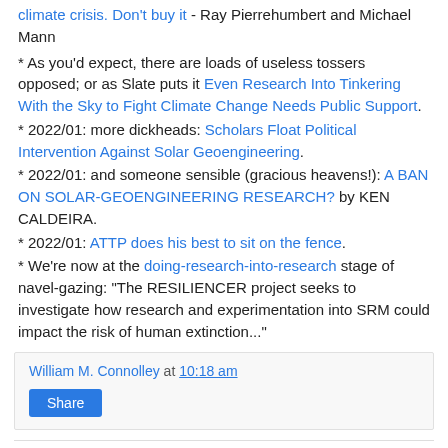climate crisis. Don't buy it - Ray Pierrehumbert and Michael Mann
* As you'd expect, there are loads of useless tossers opposed; or as Slate puts it Even Research Into Tinkering With the Sky to Fight Climate Change Needs Public Support.
* 2022/01: more dickheads: Scholars Float Political Intervention Against Solar Geoengineering.
* 2022/01: and someone sensible (gracious heavens!): A BAN ON SOLAR-GEOENGINEERING RESEARCH? by KEN CALDEIRA.
* 2022/01: ATTP does his best to sit on the fence.
* We're now at the doing-research-into-research stage of navel-gazing: "The RESILIENCER project seeks to investigate how research and experimentation into SRM could impact the risk of human extinction..."
William M. Connolley at 10:18 am
Share
12 comments: